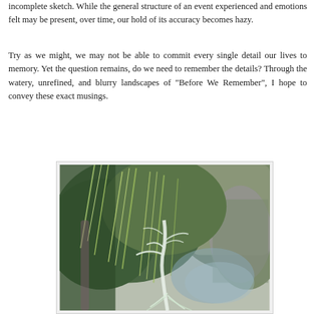incomplete sketch. While the general structure of an event experienced and emotions felt may be present, over time, our hold of its accuracy becomes hazy.
Try as we might, we may not be able to commit every single detail our lives to memory. Yet the question remains, do we need to remember the details? Through the watery, unrefined, and blurry landscapes of "Before We Remember", I hope to convey these exact musings.
[Figure (illustration): A painting depicting a watery, unrefined landscape with drooping green foliage, a white bare tree in the foreground, and a misty background of cliffs or rock formations in shades of green and grey-purple.]